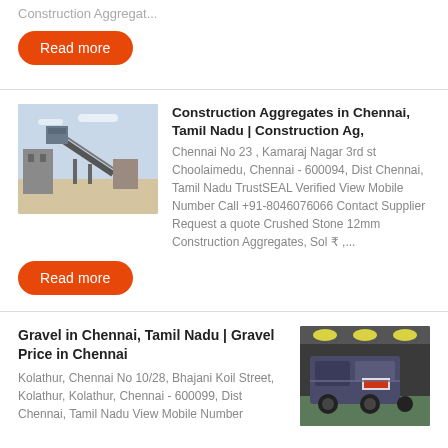Construction Aggregat...
Read more
Construction Aggregates in Chennai, Tamil Nadu | Construction Ag,
Chennai No 23 , Kamaraj Nagar 3rd st Choolaimedu, Chennai - 600094, Dist Chennai, Tamil Nadu TrustSEAL Verified View Mobile Number Call +91-8046076066 Contact Supplier Request a quote Crushed Stone 12mm Construction Aggregates, Sol ₹ ,...
[Figure (photo): Industrial construction aggregate machinery/plant equipment outdoors]
Read more
Gravel in Chennai, Tamil Nadu | Gravel Price in Chennai
Kolathur, Chennai No 10/28, Bhajani Koil Street, Kolathur, Kolathur, Chennai - 600099, Dist Chennai, Tamil Nadu View Mobile Number
[Figure (photo): Industrial machinery/equipment inside a warehouse or facility]